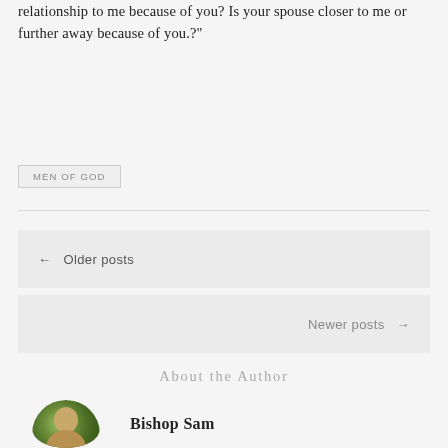relationship to me because of you? Is your spouse closer to me or further away because of you.?"
MEN OF GOD
← Older posts
Newer posts →
About the Author
[Figure (photo): Circular author photo showing a person with greenish/olive background tones, partially visible at bottom of page]
Bishop Sam